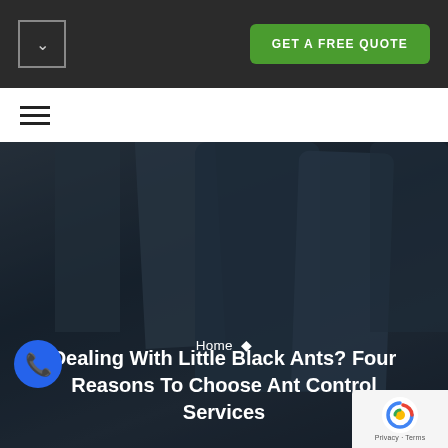GET A FREE QUOTE
[Figure (screenshot): Dark navigation header bar with a small square dropdown icon on the left and a green 'GET A FREE QUOTE' button on the right]
[Figure (screenshot): White strip with hamburger menu icon (three horizontal lines)]
[Figure (photo): Hero image showing blurred dark blue/grey vehicle interior seats as background]
Home ♦
Dealing With Little Black Ants? Four Reasons To Choose Ant Control Services
[Figure (logo): Blue circular phone call icon on lower left]
[Figure (logo): reCAPTCHA badge in bottom right corner showing Google reCAPTCHA logo with Privacy and Terms links]